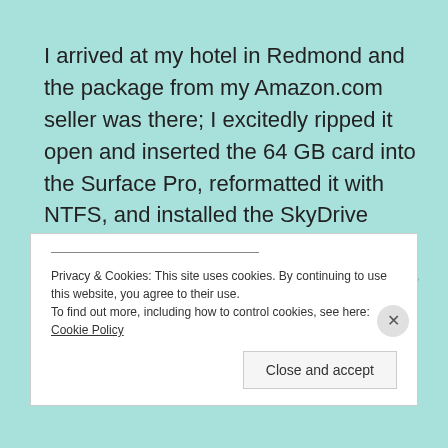I arrived at my hotel in Redmond and the package from my Amazon.com seller was there; I excitedly ripped it open and inserted the 64 GB card into the Surface Pro, reformatted it with NTFS, and installed the SkyDrive Desktop Client on Windows 8 (which allows me to synchronize my SkyDrive files onto my device's hard drive or, in this case, its SD card.
Privacy & Cookies: This site uses cookies. By continuing to use this website, you agree to their use. To find out more, including how to control cookies, see here: Cookie Policy